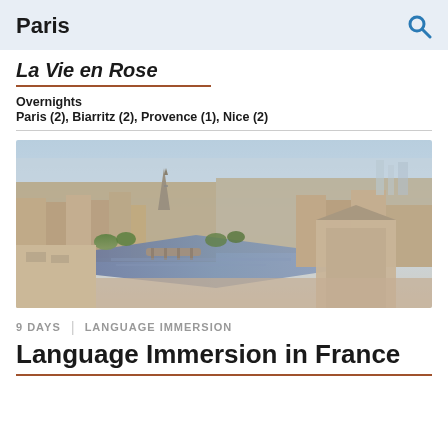Paris
La Vie en Rose
Overnights
Paris (2), Biarritz (2), Provence (1), Nice (2)
[Figure (photo): Aerial panoramic view of Paris showing the Seine river, Eiffel Tower in the background, dense Haussmanian buildings, and bridges over the river]
9 DAYS | LANGUAGE IMMERSION
Language Immersion in France